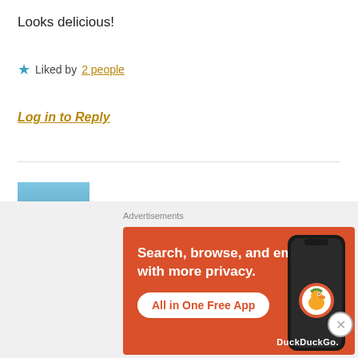Looks delicious!
★ Liked by 2 people
Log in to Reply
Abirbhav
July 13, 2020 at 1:48 am
Trust me, it is.. ♥♥
[Figure (screenshot): DuckDuckGo advertisement banner: orange background with text 'Search, browse, and email with more privacy. All in One Free App' and a phone image with DuckDuckGo logo.]